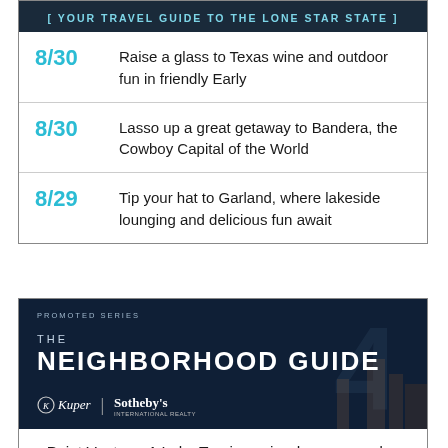[Figure (other): Dark banner with text: [ YOUR TRAVEL GUIDE TO THE LONE STAR STATE ]]
8/30 - Raise a glass to Texas wine and outdoor fun in friendly Early
8/30 - Lasso up a great getaway to Bandera, the Cowboy Capital of the World
8/29 - Tip your hat to Garland, where lakeside lounging and delicious fun await
[Figure (other): Promoted series: THE NEIGHBORHOOD GUIDE — Kuper Sotheby's International Realty, dark blue background with building silhouettes]
Point Venture: A Lake Travis oasis where every day feels like vacation